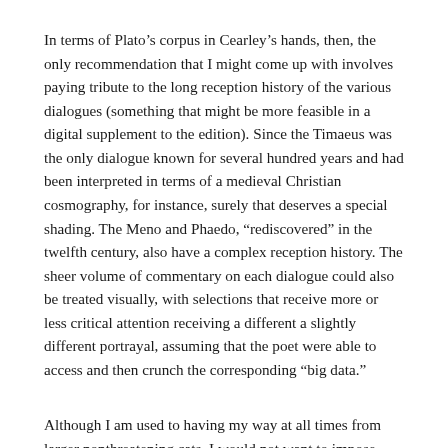In terms of Plato’s corpus in Cearley’s hands, then, the only recommendation that I might come up with involves paying tribute to the long reception history of the various dialogues (something that might be more feasible in a digital supplement to the edition). Since the Timaeus was the only dialogue known for several hundred years and had been interpreted in terms of a medieval Christian cosmography, for instance, surely that deserves a special shading. The Meno and Phaedo, “rediscovered” in the twelfth century, also have a complex reception history. The sheer volume of commentary on each dialogue could also be treated visually, with selections that receive more or less critical attention receiving a different a slightly different portrayal, assuming that the poet were able to access and then crunch the corresponding “big data.”
Although I am used to having my way at all times from larger nonthreatening cats, I would not want to impose more work for its own sake on a poet I had never met. I would, however, want